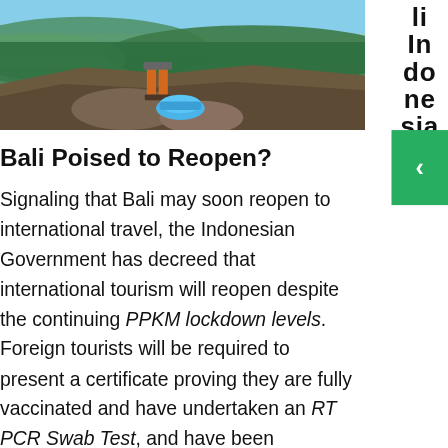[Figure (photo): Photo of a hiker standing on a rocky mountain peak with a blue bag/mat, overlooking a green forested valley and landscape below.]
li Indonesia –
Bali Poised to Reopen?
Signaling that Bali may soon reopen to international travel, the Indonesian Government has decreed that international tourism will reopen despite the continuing PPKM lockdown levels. Foreign tourists will be required to present a certificate proving they are fully vaccinated and have undertaken an RT PCR Swab Test, and have been quarantined upon arrival for eight days.